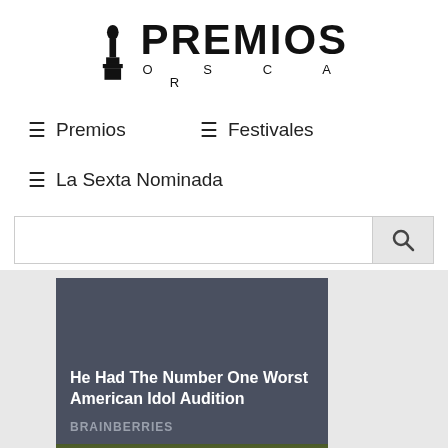[Figure (logo): Premios Oscar logo with Oscar statuette figure and bold PREMIOS text with O S C A R spaced below]
≡ Premios
≡ Festivales
≡ La Sexta Nominada
[Figure (screenshot): Search input bar with search button icon on the right]
[Figure (photo): Advertisement card with dark slate background showing article title 'He Had The Number One Worst American Idol Audition' with source 'BRAINBERRIES' below, and a partial photo of a person lying in grass at the bottom]